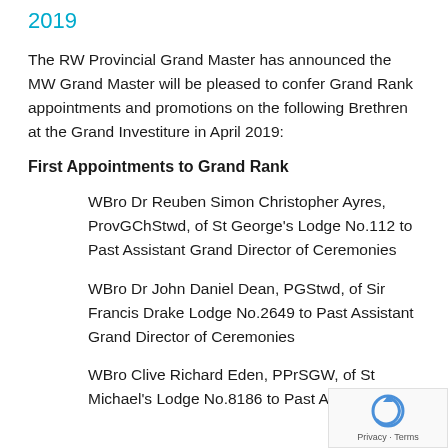2019
The RW Provincial Grand Master has announced the MW Grand Master will be pleased to confer Grand Rank appointments and promotions on the following Brethren at the Grand Investiture in April 2019:
First Appointments to Grand Rank
WBro Dr Reuben Simon Christopher Ayres, ProvGChStwd, of St George's Lodge No.112 to Past Assistant Grand Director of Ceremonies
WBro Dr John Daniel Dean, PGStwd, of Sir Francis Drake Lodge No.2649 to Past Assistant Grand Director of Ceremonies
WBro Clive Richard Eden, PPrSGW, of St Michael's Lodge No.8186 to Past Assistant